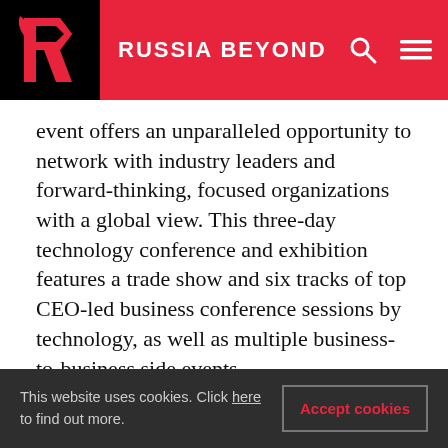RUSSIA BEYOND
event offers an unparalleled opportunity to network with industry leaders and forward-thinking, focused organizations with a global view. This three-day technology conference and exhibition features a trade show and six tracks of top CEO-led business conference sessions by technology, as well as multiple business-to-business side events.
RETECH is a continuation of the Washington International Energy Conference (WIREC), which in 2008 was the largest business-to-business and
This website uses cookies. Click here to find out more.